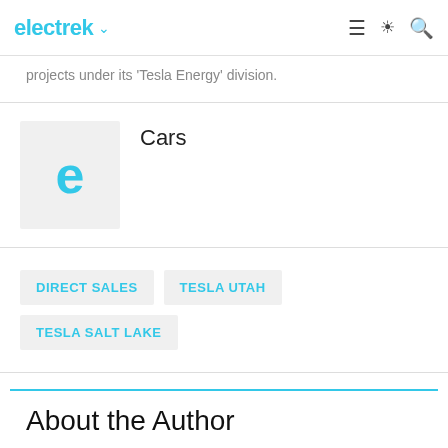electrek
projects under its 'Tesla Energy' division.
[Figure (logo): Electrek 'e' logo placeholder thumbnail in light gray background]
Cars
DIRECT SALES
TESLA UTAH
TESLA SALT LAKE
About the Author